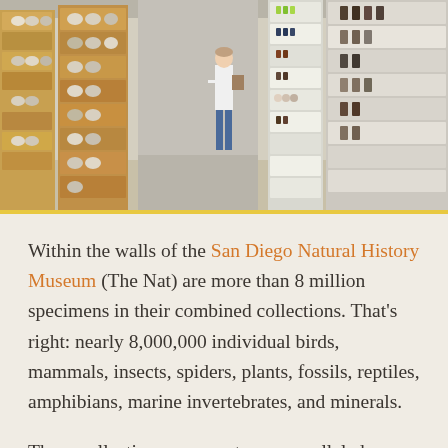[Figure (photo): Interior of a natural history museum storage room showing rows of open wooden and white drawers filled with bird specimens and other natural history objects. A person stands in the background holding a clipboard.]
Within the walls of the San Diego Natural History Museum (The Nat) are more than 8 million specimens in their combined collections. That's right: nearly 8,000,000 individual birds, mammals, insects, spiders, plants, fossils, reptiles, amphibians, marine invertebrates, and minerals.
These collections represent an unparalleled treasure trove of knowledge and resources for all…